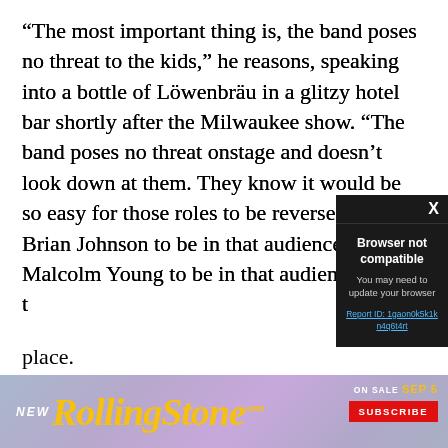“The most important thing is, the band poses no threat to the kids,” he reasons, speaking into a bottle of Löwenbräu in a glitzy hotel bar shortly after the Milwaukee show. “The band poses no threat onstage and doesn’t look down at them. They know it would be so easy for those roles to be reversed, for Brian Johnson to be in that audience, for Malcolm Young to be in that audience and for th[e roles to be reversed] place.
“They know the ba[nd members are working class] man, taken all the [same knocks they have, have] taken all the shit, a[nd they don’t have any] snobby attitude, d[on’t look down on them]…
[Figure (screenshot): Browser not compatible modal dialog overlay with dark background. Shows title 'Browser not compatible', subtitle 'You may need to update your browser', and a link 'Report ID: 1gaon0k5k1kn4q6t4rt'. Has an X close button in top right.]
[Figure (photo): Rolling Stone magazine advertisement banner. Shows 'NEW' text on left, Rolling Stone logo in yellow italic script, 'ON SALE SEP 5' text, and red 'SUBSCRIBE' button on right. Pastel purple/lavender gradient background.]